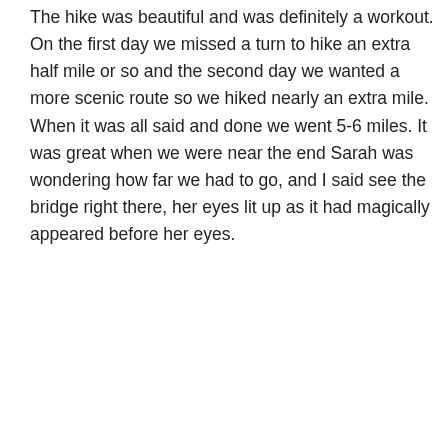The hike was beautiful and was definitely a workout. On the first day we missed a turn to hike an extra half mile or so and the second day we wanted a more scenic route so we hiked nearly an extra mile. When it was all said and done we went 5-6 miles. It was great when we were near the end Sarah was wondering how far we had to go, and I said see the bridge right there, her eyes lit up as it had magically appeared before her eyes.